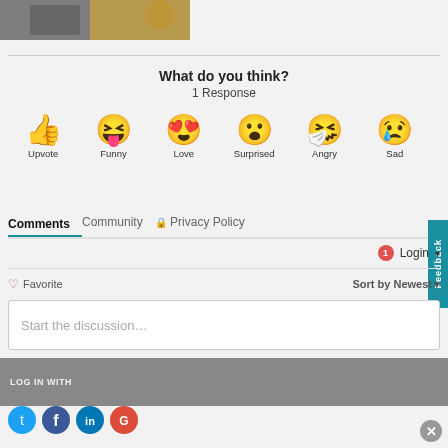[Figure (photo): Partial cropped photo of people working at a table with a laptop, in the top-left corner]
What do you think?
1 Response
[Figure (infographic): Row of six reaction emoji icons with labels: Upvote (thumbs up), Funny (laughing face with tongue), Love (heart eyes), Surprised (astonished face), Angry (sneezing/crying face), Sad (sad face with tear)]
Comments   Community   🔒 Privacy Policy
1  Login ▾
♡ Favorite
Sort by Newest ▾
Start the discussion...
LOG IN WITH
[Figure (infographic): Partial row of social login icons (blue Twitter/X, blue Facebook, teal LinkedIn, red Google) at the bottom, and a grey X close button in the bottom right]